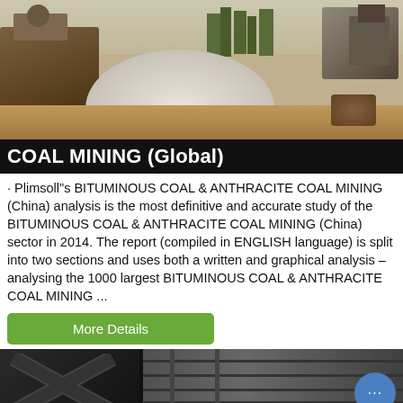[Figure (photo): Outdoor coal mining site with machinery, a large white/grey mineral heap in the center, and trees in the background under a hazy sky.]
COAL MINING (Global)
· Plimsoll''s BITUMINOUS COAL & ANTHRACITE COAL MINING (China) analysis is the most definitive and accurate study of the BITUMINOUS COAL & ANTHRACITE COAL MINING (China) sector in 2014. The report (compiled in ENGLISH language) is split into two sections and uses both a written and graphical analysis – analysing the 1000 largest BITUMINOUS COAL & ANTHRACITE COAL MINING ...
[Figure (photo): Partial bottom strip showing what appears to be another mining or industrial site image, with a chat/messaging button overlay in the bottom right.]